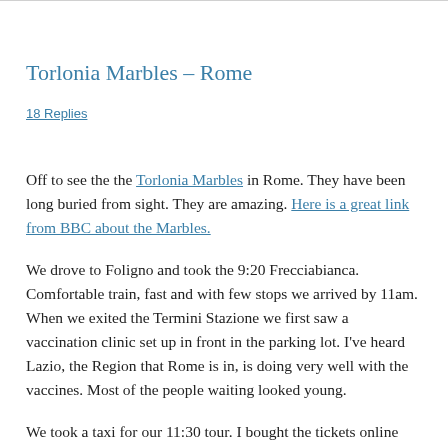Torlonia Marbles – Rome
18 Replies
Off to see the the Torlonia Marbles in Rome. They have been long buried from sight. They are amazing. Here is a great link from BBC about the Marbles.
We drove to Foligno and took the 9:20 Frecciabianca. Comfortable train, fast and with few stops we arrived by 11am. When we exited the Termini Stazione we first saw a vaccination clinic set up in front in the parking lot. I've heard Lazio, the Region that Rome is in, is doing very well with the vaccines. Most of the people waiting looked young.
We took a taxi for our 11:30 tour. I bought the tickets online